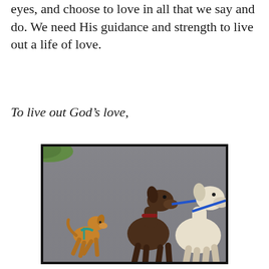eyes, and choose to love in all that we say and do. We need His guidance and strength to live out a life of love.
To live out God’s love,
[Figure (photo): A photo of three dogs on a paved road/path. A small tan/caramel colored dog with a teal harness is on the left, jumping or walking animatedly. In the center and right are two larger dogs — a dark brown/chocolate dog and a white/cream colored dog — both on leashes. The larger brown dog appears to be holding or biting the blue leash of the white dog. Green grass is visible in the upper left corner.]